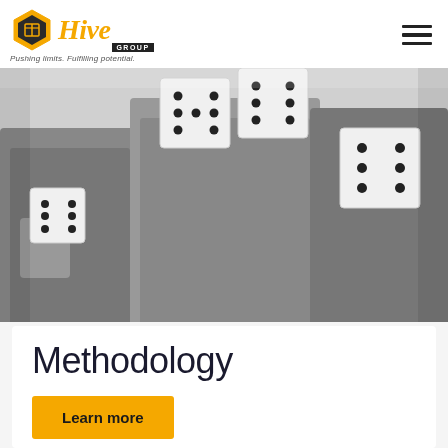Hive Group — Pushing limits. Fulfilling potential.
[Figure (photo): Black and white photo of three business professionals each holding large oversized dice]
Methodology
Learn more